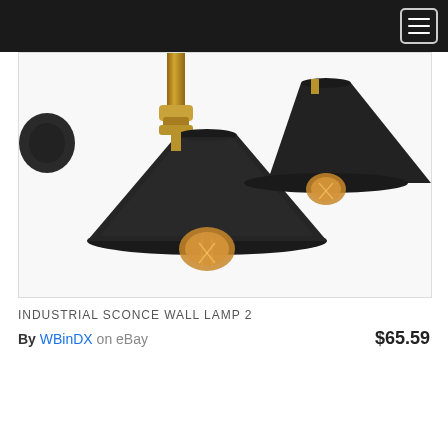[Figure (photo): Close-up photo of an industrial sconce wall lamp with two black metal cone-shaped shades and exposed Edison-style filament bulbs, with a gold/brass central mount, against a white background.]
INDUSTRIAL SCONCE WALL LAMP 2
By WBinDX on eBay  $65.59